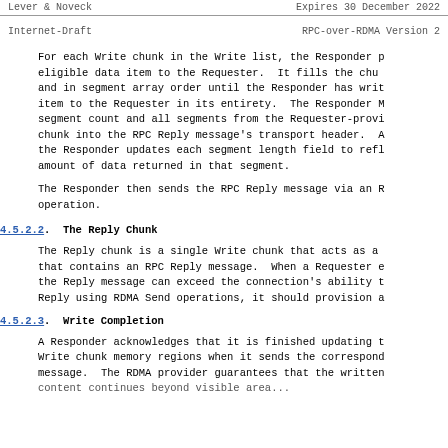Lever & Noveck                    Expires 30 December 2022
Internet-Draft                    RPC-over-RDMA Version 2
For each Write chunk in the Write list, the Responder pushes each eligible data item to the Requester.  It fills the chunk's segments and in segment array order until the Responder has written the item to the Requester in its entirety.  The Responder MUST copy the segment count and all segments from the Requester-provided Write chunk into the RPC Reply message's transport header.  As it does so, the Responder updates each segment length field to reflect the actual amount of data returned in that segment.
The Responder then sends the RPC Reply message via an RDMA Send operation.
4.5.2.2.  The Reply Chunk
The Reply chunk is a single Write chunk that acts as a buffer that contains an RPC Reply message.  When a Requester expects the Reply message can exceed the connection's ability to send the Reply using RDMA Send operations, it should provision a
4.5.2.3.  Write Completion
A Responder acknowledges that it is finished updating the Write chunk memory regions when it sends the corresponding RPC Reply message.  The RDMA provider guarantees that the written data is visible to the Requester once it receives this RPC Reply